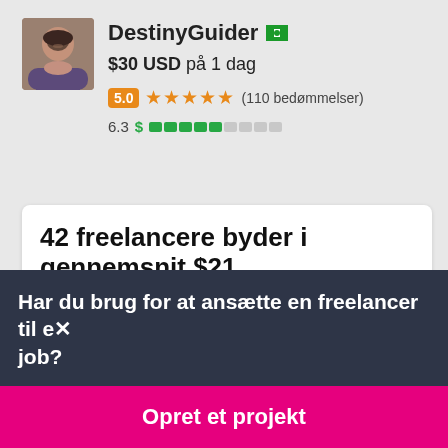[Figure (photo): Profile photo of a person with beard]
DestinyGuider
$30 USD på 1 dag
5.0 ★★★★★ (110 bedømmelser)
6.3 $ [progress bar indicator]
42 freelancere byder i gennemsnit $21
Har du brug for at ansætte en freelancer til et job?
Opret et projekt